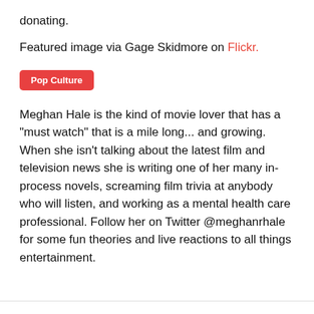donating.
Featured image via Gage Skidmore on Flickr.
Pop Culture
Meghan Hale is the kind of movie lover that has a "must watch" that is a mile long... and growing. When she isn't talking about the latest film and television news she is writing one of her many in-process novels, screaming film trivia at anybody who will listen, and working as a mental health care professional. Follow her on Twitter @meghanrhale for some fun theories and live reactions to all things entertainment.